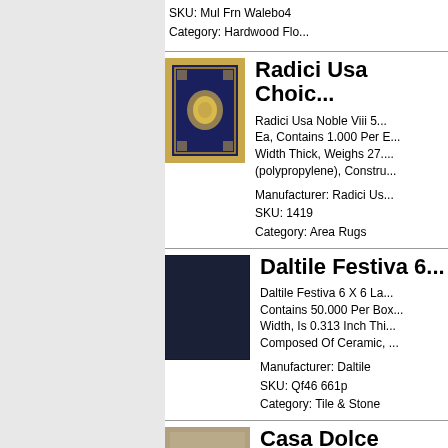SKU: Mul Frn Walebo4
Category: Hardwood Flo...
Radici Usa Choi...
[Figure (photo): Radici Usa ornate area rug with navy blue and gold medallion design]
Radici Usa Noble Viii 5... Ea, Contains 1.000 Per E... Width Thick, Weighs 27.... (polypropylene), Constru...
Manufacturer: Radici Us...
SKU: 1419
Category: Area Rugs
Daltile Festiva 6...
[Figure (photo): Daltile Festiva 6x6 tile in solid dark navy blue color]
Daltile Festiva 6 X 6 La... Contains 50.000 Per Box... Width, Is 0.313 Inch Thi... Composed Of Ceramic, ...
Manufacturer: Daltile
SKU: Qf46 661p
Category: Tile & Stone
Casa Dolce Casa...
[Figure (photo): Partial view of Casa Dolce Casa product image]